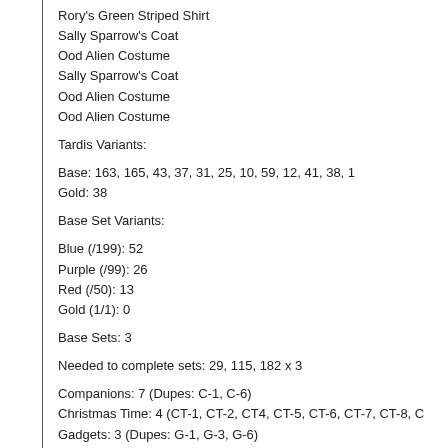Rory's Green Striped Shirt
Sally Sparrow's Coat
Ood Alien Costume
Sally Sparrow's Coat
Ood Alien Costume
Ood Alien Costume
Tardis Variants:
Base: 163, 165, 43, 37, 31, 25, 10, 59, 12, 41, 38, 1
Gold: 38
Base Set Variants:
Blue (/199): 52
Purple (/99): 26
Red (/50): 13
Gold (1/1): 0
Base Sets: 3
Needed to complete sets: 29, 115, 182 x 3
Companions: 7 (Dupes: C-1, C-6)
Christmas Time: 4 (CT-1, CT-2, CT4, CT-5, CT-6, CT-7, CT-8, C
Gadgets: 3 (Dupes: G-1, G-3, G-6)
Memorable Moments: 14 (Dupes: MM-1, MM-2, MM-5, MM-10)
Who Is The Doctor: 3 (No duplicates)